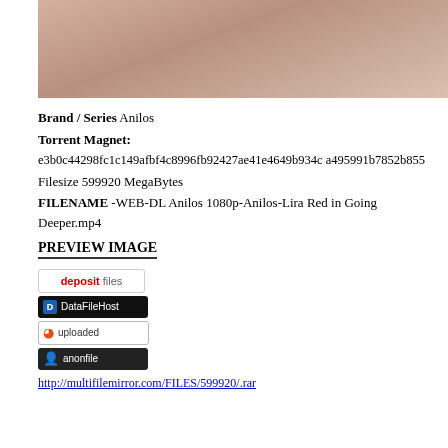[Figure (photo): Photograph cropped at top of page]
Brand / Series Anilos
Torrent Magnet:
e3b0c44298fc1c149afbf4c8996fb92427ae41e4649b934ca495991b7852b855
Filesize 599920 MegaBytes
FILENAME -WEB-DL Anilos 1080p-Anilos-Lira Red in Going Deeper.mp4
PREVIEW IMAGE
[Figure (logo): deposit files logo badge]
[Figure (logo): DataFileHost logo badge]
[Figure (logo): uploaded logo badge]
[Figure (logo): anonfile logo badge]
http://multifilemirror.com/FILES/599920/.rar